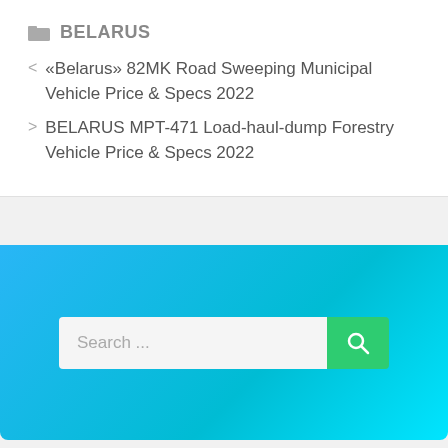BELARUS
« «Belarus» 82MK Road Sweeping Municipal Vehicle Price & Specs 2022
> BELARUS MPT-471 Load-haul-dump Forestry Vehicle Price & Specs 2022
[Figure (screenshot): Search bar with 'Search ...' placeholder text and a green search button with magnifying glass icon, set on a blue gradient background]